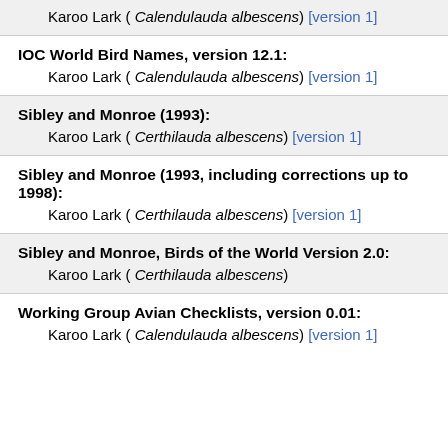Karoo Lark ( Calendulauda albescens) [version 1]
IOC World Bird Names, version 12.1:
Karoo Lark ( Calendulauda albescens) [version 1]
Sibley and Monroe (1993):
Karoo Lark ( Certhilauda albescens) [version 1]
Sibley and Monroe (1993, including corrections up to 1998):
Karoo Lark ( Certhilauda albescens) [version 1]
Sibley and Monroe, Birds of the World Version 2.0:
Karoo Lark ( Certhilauda albescens)
Working Group Avian Checklists, version 0.01:
Karoo Lark ( Calendulauda albescens) [version 1]